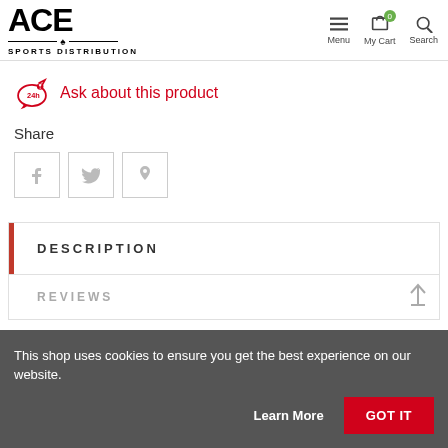ACE SPORTS DISTRIBUTION — Menu | My Cart | Search
Ask about this product
Share
[Figure (other): Social share buttons: Facebook, Twitter, Pinterest]
DESCRIPTION
REVIEWS
This shop uses cookies to ensure you get the best experience on our website.